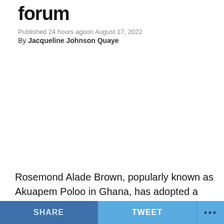forum
Published 24 hours agoon August 17, 2022
By Jacqueline Johnson Quaye
Rosemond Alade Brown, popularly known as Akuapem Poloo in Ghana, has adopted a new Muslim name after
SHARE   TWEET   ...